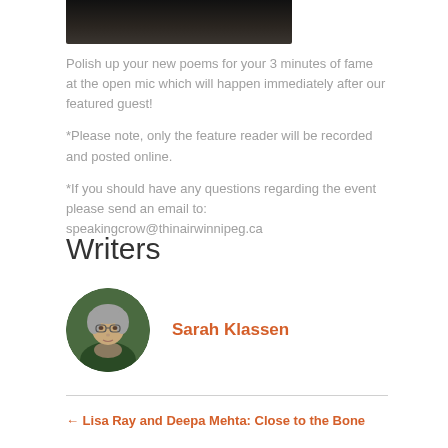[Figure (photo): Cropped bottom portion of a photo showing a dark background, partially visible at the top of the page]
Polish up your new poems for your 3 minutes of fame at the open mic which will happen immediately after our featured guest!
*Please note, only the feature reader will be recorded and posted online.
*If you should have any questions regarding the event please send an email to: speakingcrow@thinairwinnipeg.ca
Writers
[Figure (photo): Circular portrait photo of Sarah Klassen, a woman with short grey hair wearing glasses and a scarf, in front of a green background]
Sarah Klassen
← Lisa Ray and Deepa Mehta: Close to the Bone